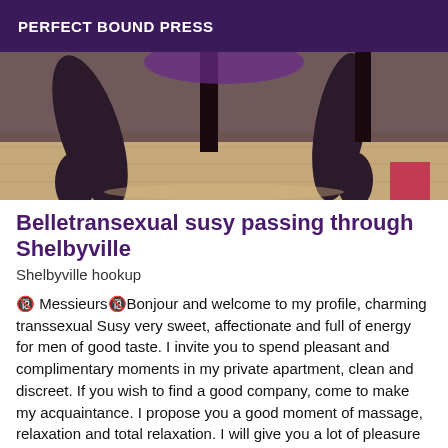PERFECT BOUND PRESS
[Figure (photo): Close-up photo of legs in dark stockings near a chair or table on a wooden floor]
Belletransexual susy passing through Shelbyville
Shelbyville hookup
🔞 Messieurs🔞Bonjour and welcome to my profile, charming transsexual Susy very sweet, affectionate and full of energy for men of good taste. I invite you to spend pleasant and complimentary moments in my private apartment, clean and discreet. If you wish to find a good company, come to make my acquaintance. I propose you a good moment of massage, relaxation and total relaxation. I will give you a lot of pleasure WITH my beautiful body, I receive with pleasure ... the good mood